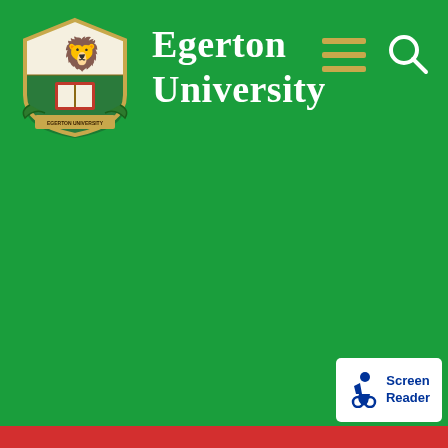[Figure (logo): Egerton University coat of arms/crest logo with red lion and book on shield with green and red colors]
Egerton University
[Figure (other): Hamburger menu icon (three horizontal gold lines) for navigation]
[Figure (other): Search magnifying glass icon]
[Figure (other): Screen Reader accessibility badge with wheelchair icon and text 'Screen Reader']